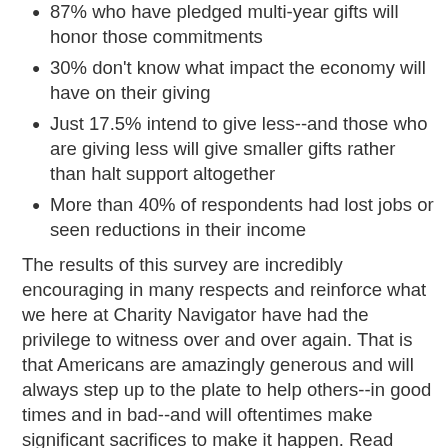87% who have pledged multi-year gifts will honor those commitments
30% don't know what impact the economy will have on their giving
Just 17.5% intend to give less--and those who are giving less will give smaller gifts rather than halt support altogether
More than 40% of respondents had lost jobs or seen reductions in their income
The results of this survey are incredibly encouraging in many respects and reinforce what we here at Charity Navigator have had the privilege to witness over and over again. That is that Americans are amazingly generous and will always step up to the plate to help others--in good times and in bad--and will oftentimes make significant sacrifices to make it happen. Read Cygnus Applied Research President Penelope Burk's "An Unexpected Gift from Donors" blog entry here. The comments are extraordinary!
So, let us know--how will the economy affect your charitable giving this year?